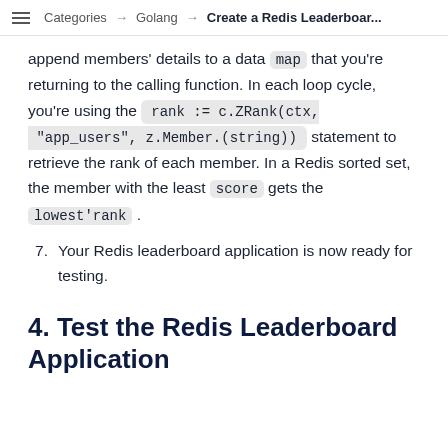Categories → Golang → Create a Redis Leaderboar...
append members' details to a data map that you're returning to the calling function. In each loop cycle, you're using the rank := c.ZRank(ctx, "app_users", z.Member.(string)) statement to retrieve the rank of each member. In a Redis sorted set, the member with the least score gets the lowest'rank .
7. Your Redis leaderboard application is now ready for testing.
4. Test the Redis Leaderboard Application